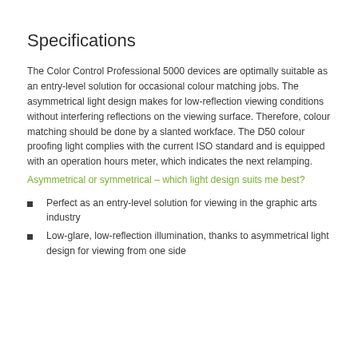Specifications
The Color Control Professional 5000 devices are optimally suitable as an entry-level solution for occasional colour matching jobs. The asymmetrical light design makes for low-reflection viewing conditions without interfering reflections on the viewing surface. Therefore, colour matching should be done by a slanted workface. The D50 colour proofing light complies with the current ISO standard and is equipped with an operation hours meter, which indicates the next relamping.
Asymmetrical or symmetrical – which light design suits me best?
Perfect as an entry-level solution for viewing in the graphic arts industry
Low-glare, low-reflection illumination, thanks to asymmetrical light design for viewing from one side